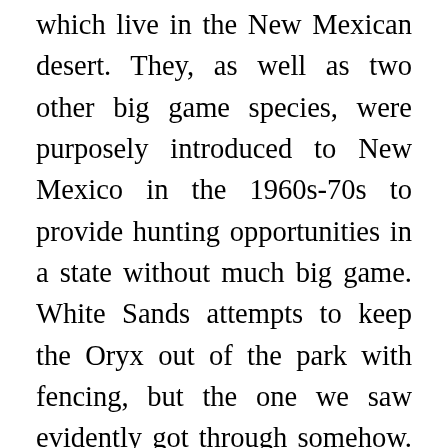which live in the New Mexican desert. They, as well as two other big game species, were purposely introduced to New Mexico in the 1960s-70s to provide hunting opportunities in a state without much big game. White Sands attempts to keep the Oryx out of the park with fencing, but the one we saw evidently got through somehow. We also looked up the other two introduced species; the Ibex and the African Barbary Sheep, both of which are doing just as well as the Oryx in their new homes. Strangely, the Barbary Sheep looked familiar and we went back through the day's photos. The animal we saw at Carlsbad Caverns wasn't a Desert Bighorn like we